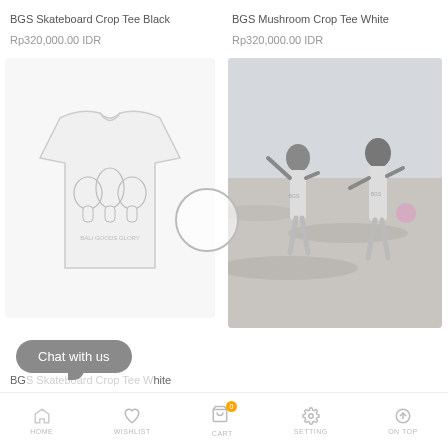BGS Skateboard Crop Tee Black
BGS Mushroom Crop Tee White
Rp320,000.00 IDR
Rp320,000.00 IDR
[Figure (photo): White t-shirt with BGS skateboard graphic print on back]
[Figure (photo): Two children in white t-shirts playing on a beach]
BG... White
Chat with us
HOME   WISHLIST   CART   SETTING   ON TOP